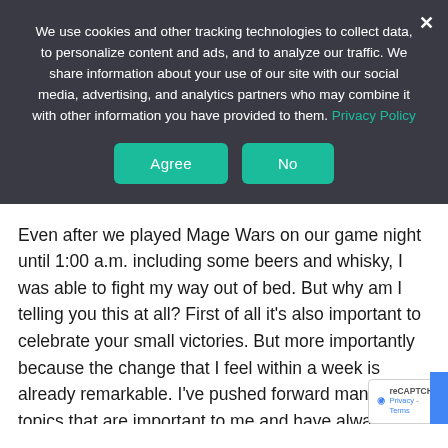We use cookies and other tracking technologies to collect data, to personalize content and ads, and to analyze our traffic. We share information about your use of our site with our social media, advertising, and analytics partners who may combine it with other information you have provided to them. Privacy Policy
Even after we played Mage Wars on our game night until 1:00 a.m. including some beers and whisky, I was able to fight my way out of bed. But why am I telling you this at all? First of all it's also important to celebrate your small victories. But more importantly  because the change that I feel within a week is already remarkable. I've pushed forward many of the topics that are important to me and have always done so before the day started for